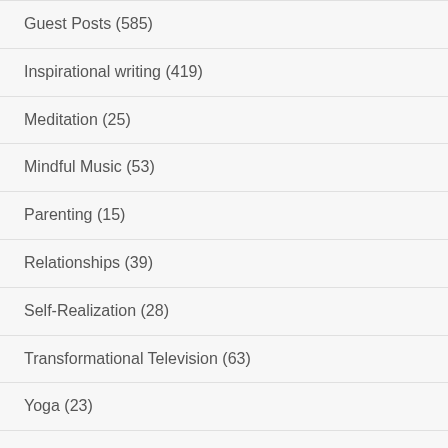Guest Posts (585)
Inspirational writing (419)
Meditation (25)
Mindful Music (53)
Parenting (15)
Relationships (39)
Self-Realization (28)
Transformational Television (63)
Yoga (23)